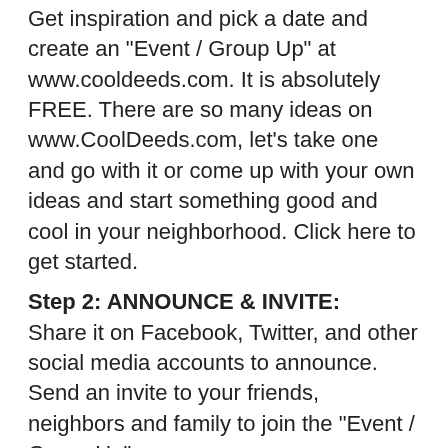Get inspiration and pick a date and create an "Event / Group Up" at www.cooldeeds.com. It is absolutely FREE. There are so many ideas on www.CoolDeeds.com, let's take one and go with it or come up with your own ideas and start something good and cool in your neighborhood. Click here to get started.
Step 2: ANNOUNCE & INVITE:
Share it on Facebook, Twitter, and other social media accounts to announce. Send an invite to your friends, neighbors and family to join the "Event / Group Up".
Step 3: PERFORM EVENT & FEEL GOOD:
Perform the event, take images, videos, and share on www.CoolDeeds.com to inspire the world so others can do the same in their community and neighborhood.